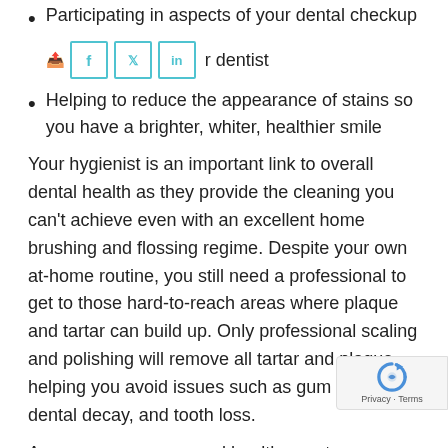Participating in aspects of your dental checkup
together with your dentist
Helping to reduce the appearance of stains so you have a brighter, whiter, healthier smile
Your hygienist is an important link to overall dental health as they provide the cleaning you can't achieve even with an excellent home brushing and flossing regime. Despite your own at-home routine, you still need a professional to get to those hard-to-reach areas where plaque and tartar can build up. Only professional scaling and polishing will remove all tartar and plaque, helping you avoid issues such as gum disease, dental decay, and tooth loss.
As you can see your oral health care team work together to create a pleasant experience while